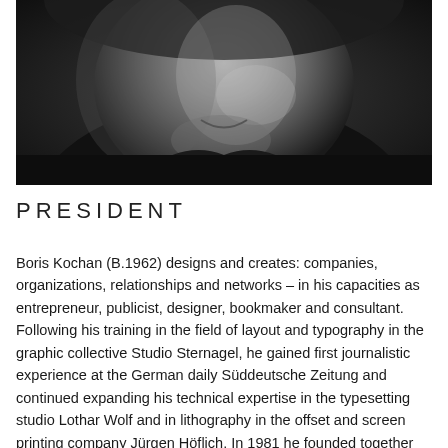[Figure (photo): Black and white close-up portrait photograph of Boris Kochan, a middle-aged man smiling, wearing a dark shirt, with short hair and stubble.]
PRESIDENT
Boris Kochan (B.1962) designs and creates: companies, organizations, relationships and networks – in his capacities as entrepreneur, publicist, designer, bookmaker and consultant. Following his training in the field of layout and typography in the graphic collective Studio Sternagel, he gained first journalistic experience at the German daily Süddeutsche Zeitung and continued expanding his technical expertise in the typesetting studio Lothar Wolf and in lithography in the offset and screen printing company Jürgen Höflich. In 1981 he founded together with friends — and in analogy to studio — a network to share and edit...